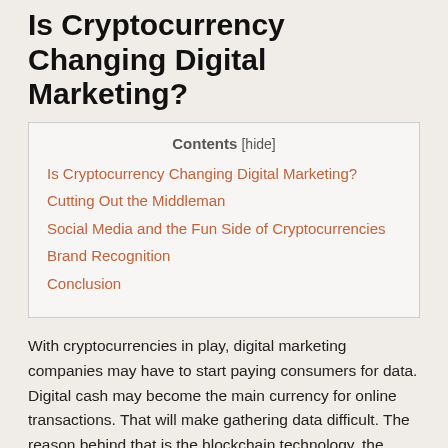Is Cryptocurrency Changing Digital Marketing?
| Contents [hide] |
| --- |
| Is Cryptocurrency Changing Digital Marketing? |
| Cutting Out the Middleman |
| Social Media and the Fun Side of Cryptocurrencies |
| Brand Recognition |
| Conclusion |
With cryptocurrencies in play, digital marketing companies may have to start paying consumers for data. Digital cash may become the main currency for online transactions. That will make gathering data difficult. The reason behind that is the blockchain technology, the driving force behind crypto.
Blockchain doesn't have to be tied to Bitcoin, ETH, etc. Even now, banks and real-estate companies are implementing blockchain into their platforms. Everything